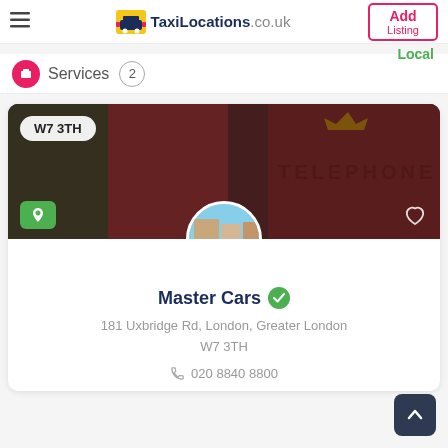TaxiLocations.co.uk — Add Listing
Services  2  Local
[Figure (photo): Red British telephone box (TELEPHONE) photo used as card header image with postcode badge W7 3TH, location pin icon, and heart icon overlaid. A circular avatar shows a London street scene with a red double-decker bus.]
Master Cars
181 Uxbridge Rd, London, Greater London W7 3TH
020 8840 8800